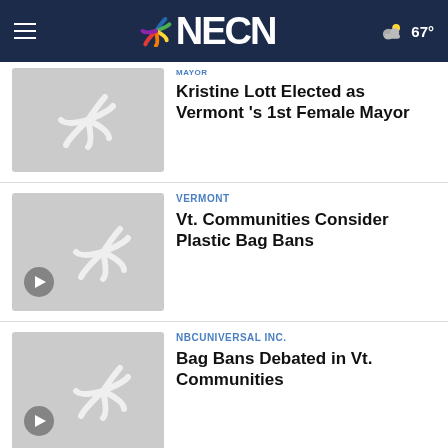NECN — 67°
[Figure (screenshot): NBC peacock logo thumbnail for Vermont 1st Female Mayor story]
Kristine Lott Elected as Vermont 's 1st Female Mayor
[Figure (screenshot): NBC peacock logo thumbnail with play button for Vt. Communities Consider Plastic Bag Bans story]
VERMONT
Vt. Communities Consider Plastic Bag Bans
[Figure (screenshot): NBC peacock logo thumbnail with play button for Bag Bans Debated in Vt. Communities story]
NBCUNIVERSAL INC.
Bag Bans Debated in Vt. Communities